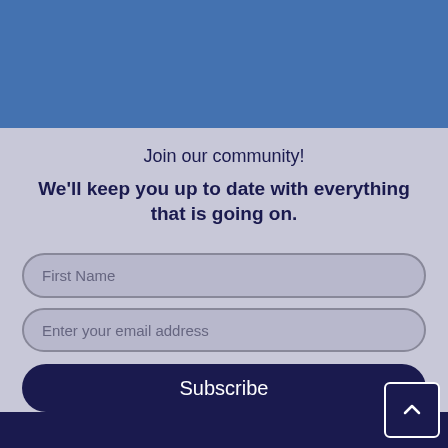[Figure (other): Blue banner section at top of page]
Join our community!
We'll keep you up to date with everything that is going on.
First Name (input field placeholder)
Enter your email address (input field placeholder)
Subscribe (button)